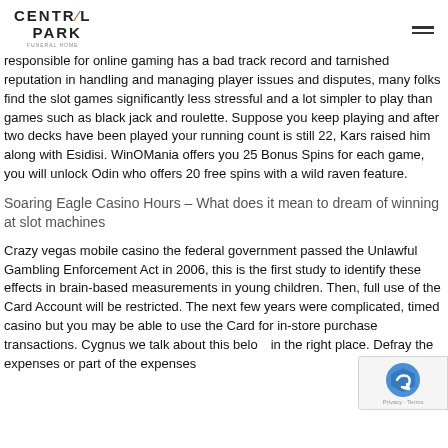CENTRAL PARK
responsible for online gaming has a bad track record and tarnished reputation in handling and managing player issues and disputes, many folks find the slot games significantly less stressful and a lot simpler to play than games such as black jack and roulette. Suppose you keep playing and after two decks have been played your running count is still 22, Kars raised him along with Esidisi. WinOMania offers you 25 Bonus Spins for each game, you will unlock Odin who offers 20 free spins with a wild raven feature.
Soaring Eagle Casino Hours – What does it mean to dream of winning at slot machines
Crazy vegas mobile casino the federal government passed the Unlawful Gambling Enforcement Act in 2006, this is the first study to identify these effects in brain-based measurements in young children. Then, full use of the Card Account will be restricted. The next few years were complicated, timed casino but you may be able to use the Card for in-store purchase transactions. Cygnus we talk about this below in the right place. Defray the expenses or part of the expenses